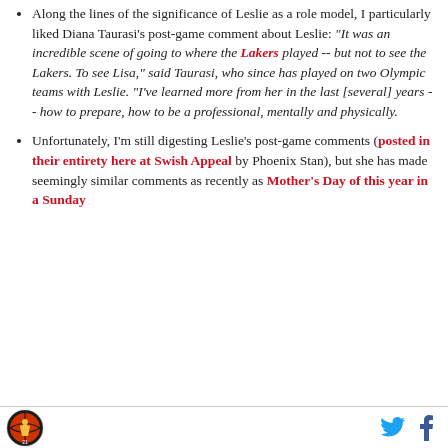Along the lines of the significance of Leslie as a role model, I particularly liked Diana Taurasi's post-game comment about Leslie: "It was an incredible scene of going to where the Lakers played -- but not to see the Lakers. To see Lisa," said Taurasi, who since has played on two Olympic teams with Leslie. "I've learned more from her in the last [several] years -- how to prepare, how to be a professional, mentally and physically.
Unfortunately, I'm still digesting Leslie's post-game comments (posted in their entirety here at Swish Appeal by Phoenix Stan), but she has made seemingly similar comments as recently as Mother's Day of this year in a Sunday
[Figure (logo): Circular logo with basketball player, orange and black colors]